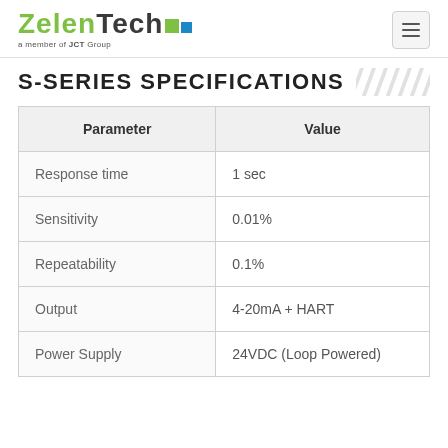ZelenTech — a member of JCT Group
S-SERIES SPECIFICATIONS
| Parameter | Value |
| --- | --- |
| Response time | 1 sec |
| Sensitivity | 0.01% |
| Repeatability | 0.1% |
| Output | 4-20mA + HART |
| Power Supply | 24VDC (Loop Powered) |